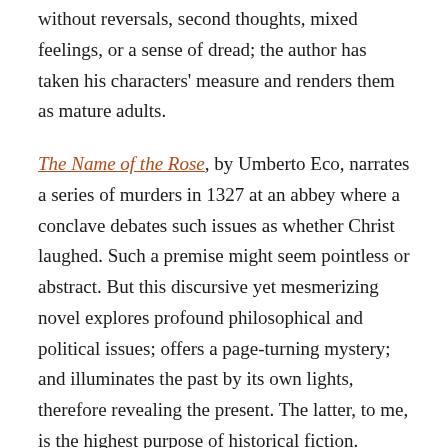without reversals, second thoughts, mixed feelings, or a sense of dread; the author has taken his characters' measure and renders them as mature adults.
The Name of the Rose, by Umberto Eco, narrates a series of murders in 1327 at an abbey where a conclave debates such issues as whether Christ laughed. Such a premise might seem pointless or abstract. But this discursive yet mesmerizing novel explores profound philosophical and political issues; offers a page-turning mystery; and illuminates the past by its own lights, therefore revealing the present. The latter, to me, is the highest purpose of historical fiction.
If there's a common thread here–besides the